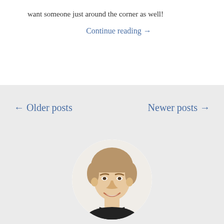want someone just around the corner as well!
Continue reading →
← Older posts
Newer posts →
[Figure (photo): Circular headshot of a middle-aged man with short light brown hair, smiling, wearing dark clothing]
Call 415-655-1071